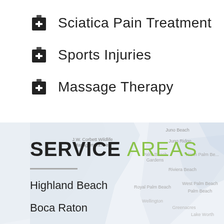Sciatica Pain Treatment
Sports Injuries
Massage Therapy
[Figure (map): Geographic map showing South Florida service area including Juno Beach, Juno Ridge, Palm Beach Gardens, North Palm Beach, Riviera Beach, Royal Palm Beach, West Palm Beach, Palm Beach, Wellington, Greenacres, Lake Worth, and J.W. Corbett Wildlife Management Area.]
SERVICE AREAS
Highland Beach
Boca Raton